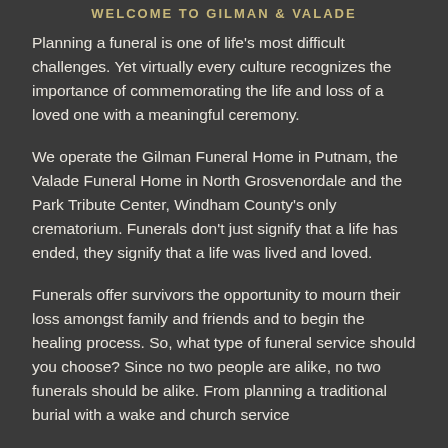WELCOME TO GILMAN & VALADE
Planning a funeral is one of life's most difficult challenges. Yet virtually every culture recognizes the importance of commemorating the life and loss of a loved one with a meaningful ceremony.
We operate the Gilman Funeral Home in Putnam, the Valade Funeral Home in North Grosvenordale and the Park Tribute Center, Windham County's only crematorium. Funerals don't just signify that a life has ended, they signify that a life was lived and loved.
Funerals offer survivors the opportunity to mourn their loss amongst family and friends and to begin the healing process. So, what type of funeral service should you choose? Since no two people are alike, no two funerals should be alike. From planning a traditional burial with a wake and church service to...